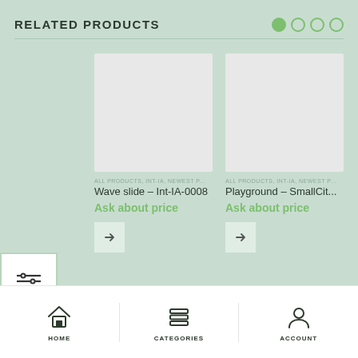RELATED PRODUCTS
[Figure (screenshot): Product card: Wave slide – Int-IA-0008, gray placeholder image, categories ALL PRODUCTS, INT-IA, NEWEST P..., Ask about price]
[Figure (screenshot): Product card: Playground – SmallCit..., gray placeholder image, categories ALL PRODUCTS, INT-IA, NEWEST P..., Ask about price]
HOME   CATEGORIES   ACCOUNT